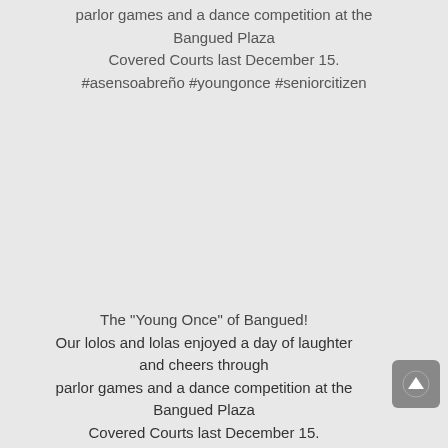parlor games and a dance competition at the Bangued Plaza Covered Courts last December 15. #asensoabreño #youngonce #seniorcitizen
The "Young Once" of Bangued! Our lolos and lolas enjoyed a day of laughter and cheers through parlor games and a dance competition at the Bangued Plaza Covered Courts last December 15.